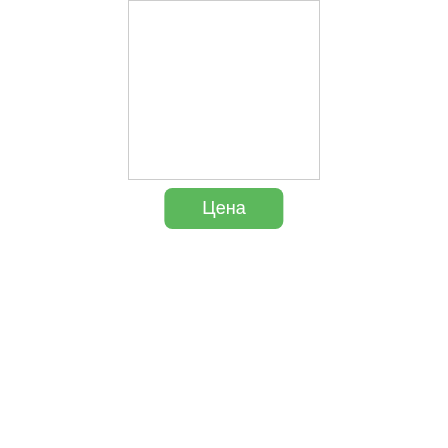[Figure (photo): Product image placeholder - white rectangle with light grey border]
Цена
| Внешний диаметр (мм) | 58.7 |
| Вход | 5/16 |
| Выход | 5/16 |
| Длина (мм) | 110.3 |
| Замены | Chrysler 4443463 |
| Используется | Chrysler Automotive, Vans |